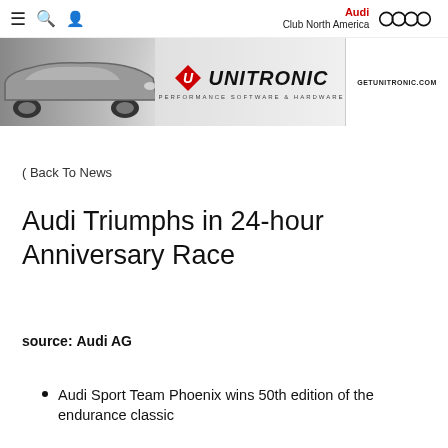≡ 🔍 👤   Audi Club North America [Audi rings logo]
[Figure (photo): Unitronic performance software & hardware banner advertisement featuring a silver Audi sports car on the left and the Unitronic logo with GETUNITRONIC.COM on the right]
( Back To News
Audi Triumphs in 24-hour Anniversary Race
source: Audi AG
Audi Sport Team Phoenix wins 50th edition of the endurance classic